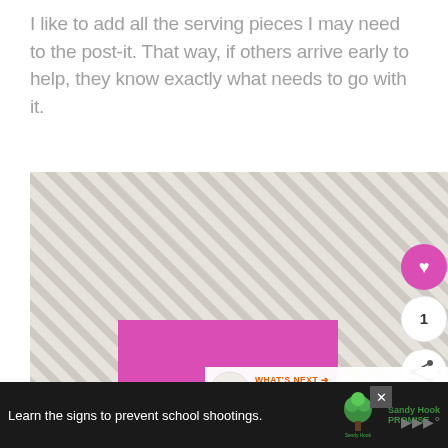I like to add all the serving pieces I may need to the post-it. That way, if others arrive early to help, they know exactly what needs to go with it.
[Figure (photo): Photo of a striped tablecloth fabric with a bright pink/magenta post-it note placed on it. Social sharing buttons (heart, count=1, share) visible on the right side. A 'What's Next' banner showing 'How to Set A Buffet Table' appears in the bottom right of the image.]
[Figure (screenshot): Advertisement bar at the bottom: dark background with text 'Learn the signs to prevent school shootings.' with Sandy Hook Promise logo (green tree). An X close button and a muted speaker icon are visible.]